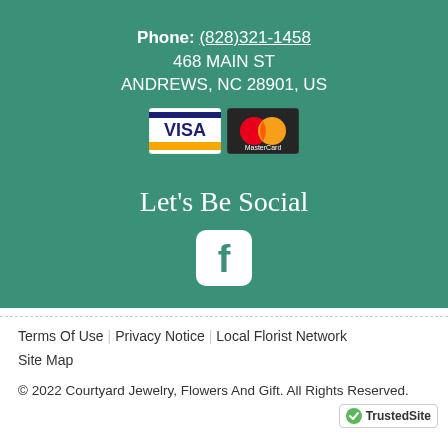Phone: (828)321-1458
468 MAIN ST
ANDREWS, NC 28901, US
[Figure (logo): Visa and MasterCard payment logos]
Let's Be Social
[Figure (logo): Facebook icon - rounded square with white 'f' on teal background]
Terms Of Use | Privacy Notice | Local Florist Network | Site Map
© 2022 Courtyard Jewelry, Flowers And Gift. All Rights Reserved.
[Figure (logo): TrustedSite badge with green checkmark]